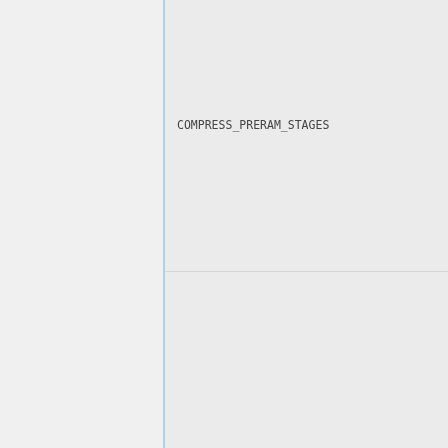COMPRESS_PRERAM_STAGES
COMPRESS_BOOTBLOCK